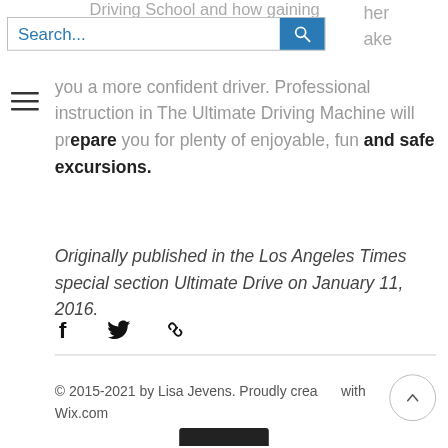[Figure (screenshot): Search bar with blue magnifying glass button and partial text visible to the right]
you a more confident driver. Professional instruction in The Ultimate Driving Machine will prepare you for plenty of enjoyable, fun and safe excursions.
Originally published in the Los Angeles Times special section Ultimate Drive on January 11, 2016.
[Figure (other): Social share icons: Facebook, Twitter, and link/chain icon]
© 2015-2021 by Lisa Jevens. Proudly created with Wix.com